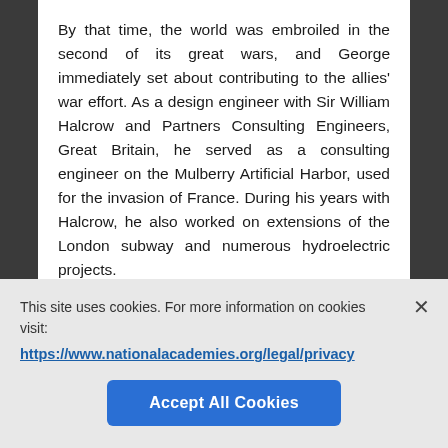By that time, the world was embroiled in the second of its great wars, and George immediately set about contributing to the allies' war effort. As a design engineer with Sir William Halcrow and Partners Consulting Engineers, Great Britain, he served as a consulting engineer on the Mulberry Artificial Harbor, used for the invasion of France. During his years with Halcrow, he also worked on extensions of the London subway and numerous hydroelectric projects.
In 1949 George moved to an area of the
This site uses cookies. For more information on cookies visit:
https://www.nationalacademies.org/legal/privacy
Accept All Cookies